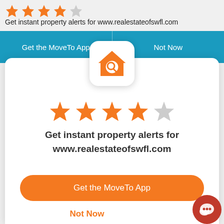[Figure (screenshot): Star rating showing 4 out of 5 orange stars at top of screen]
Get instant property alerts for www.realestateofswfl.com
[Figure (screenshot): Two teal buttons: 'Get the MoveTo App' and 'Not Now']
[Figure (illustration): App icon: orange house with magnifying glass on white rounded square]
[Figure (screenshot): Star rating showing 4 out of 5 orange stars in modal]
Get instant property alerts for www.realestateofswfl.com
[Figure (illustration): Orange rounded button labeled 'Get the MoveTo App']
Not Now
[Figure (illustration): Red circular chat bubble icon at bottom right]